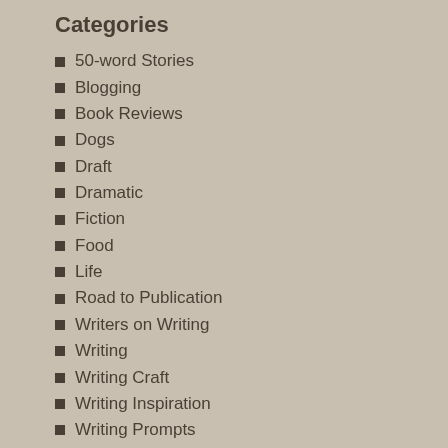Categories
50-word Stories
Blogging
Book Reviews
Dogs
Draft
Dramatic
Fiction
Food
Life
Road to Publication
Writers on Writing
Writing
Writing Craft
Writing Inspiration
Writing Prompts
Writing Tip
Read it in RSS